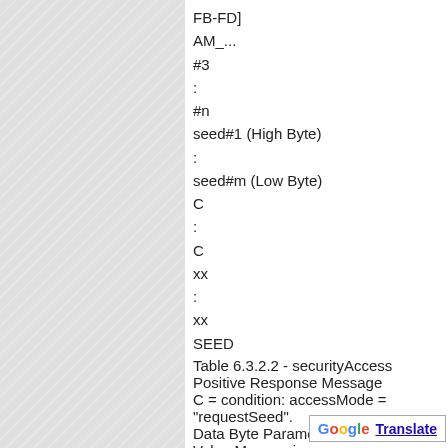FB-FD]
AM_...
#3
:
#n
seed#1 (High Byte)
:
seed#m (Low Byte)
C
:
C
xx
:
xx
SEED
Table 6.3.2.2 - securityAccess Positive Response Message
C = condition: accessMode = "requestSeed".
Data Byte Parameter Name Cvt Hex Value Mnemonic
#1 negativeResponse Se